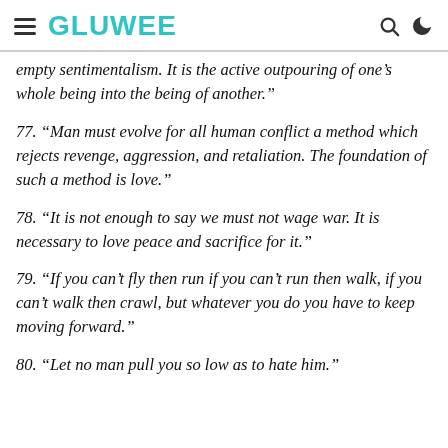GLUWEE
empty sentimentalism. It is the active outpouring of one’s whole being into the being of another.”
77. “Man must evolve for all human conflict a method which rejects revenge, aggression, and retaliation. The foundation of such a method is love.”
78. “It is not enough to say we must not wage war. It is necessary to love peace and sacrifice for it.”
79. “If you can’t fly then run if you can’t run then walk, if you can’t walk then crawl, but whatever you do you have to keep moving forward.”
80. “Let no man pull you so low as to hate him.”